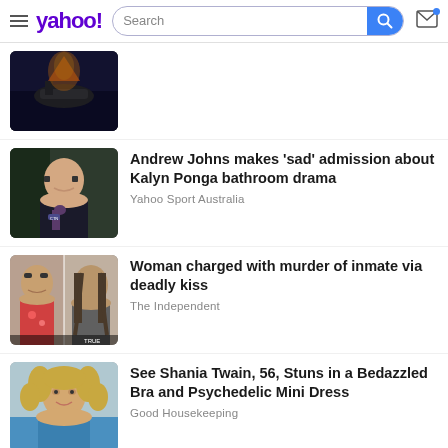yahoo! Search
[Figure (photo): Dark cinematic image of what appears to be a military tank or vehicle with smoke/fire in background]
Andrew Johns makes 'sad' admission about Kalyn Ponga bathroom drama
Yahoo Sport Australia
[Figure (photo): Andrew Johns, TV presenter holding a microphone with CTN logo]
Woman charged with murder of inmate via deadly kiss
The Independent
[Figure (photo): Split image of two people - a woman with glasses on the left and a man with long hair on the right]
See Shania Twain, 56, Stuns in a Bedazzled Bra and Psychedelic Mini Dress
Good Housekeeping
[Figure (photo): Shania Twain with curly blonde hair wearing a blue outfit]